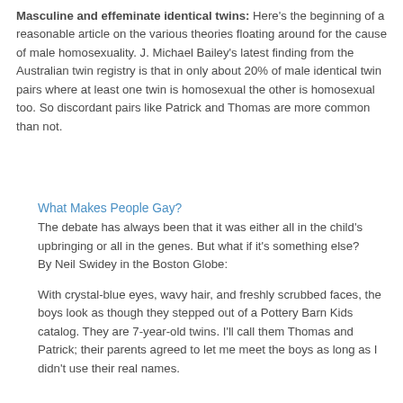Masculine and effeminate identical twins: Here's the beginning of a reasonable article on the various theories floating around for the cause of male homosexuality. J. Michael Bailey's latest finding from the Australian twin registry is that in only about 20% of male identical twin pairs where at least one twin is homosexual the other is homosexual too. So discordant pairs like Patrick and Thomas are more common than not.
What Makes People Gay?
The debate has always been that it was either all in the child's upbringing or all in the genes. But what if it's something else?
By Neil Swidey in the Boston Globe:
With crystal-blue eyes, wavy hair, and freshly scrubbed faces, the boys look as though they stepped out of a Pottery Barn Kids catalog. They are 7-year-old twins. I'll call them Thomas and Patrick; their parents agreed to let me meet the boys as long as I didn't use their real names.